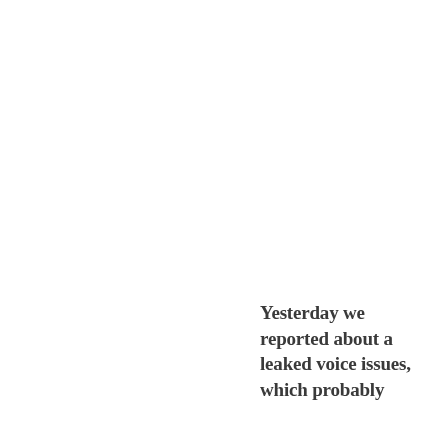Yesterday we reported about a leaked voice issues, which probably